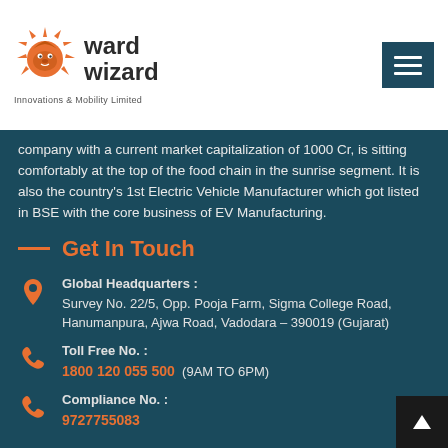ward wizard Innovations & Mobility Limited
company with a current market capitalization of 1000 Cr, is sitting comfortably at the top of the food chain in the sunrise segment. It is also the country's 1st Electric Vehicle Manufacturer which got listed in BSE with the core business of EV Manufacturing.
Get In Touch
Global Headquarters : Survey No. 22/5, Opp. Pooja Farm, Sigma College Road, Hanumanpura, Ajwa Road, Vadodara – 390019 (Gujarat)
Toll Free No. : 1800 120 055 500  (9AM TO 6PM)
Compliance No. : 9727755083